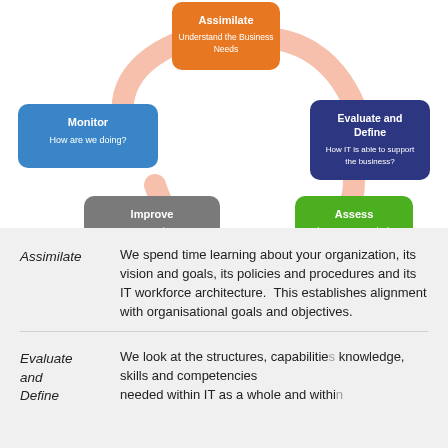[Figure (flowchart): Circular process diagram with five steps: Assimilate (orange, top) - Understand the Business Needs; Evaluate and Define (dark blue, right) - How IT is able to support the business?; Assess (green, bottom right) - Where are we and what do we have?; Improve (gray, bottom left) - How are we going to get there?; Monitor (blue, left) - How are we doing? Connected by circular arrows.]
Assimilate — We spend time learning about your organization, its vision and goals, its policies and procedures and its IT workforce architecture. This establishes alignment with organisational goals and objectives.
Evaluate and Define — We look at the structures, capabilities, knowledge, skills and competencies needed within IT as a whole and within...